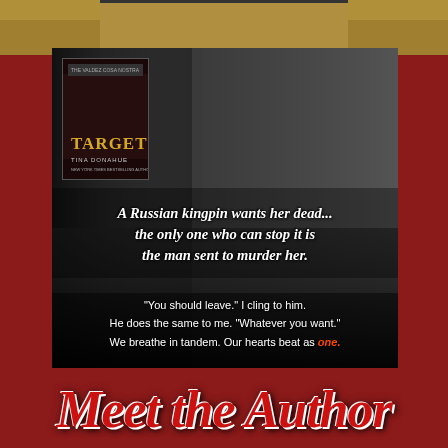[Figure (illustration): Book promotional image for 'TARGET' by Tina Donahue. Background is a black and white photo of a man and woman in an intimate pose. A book cover inset is in the upper left of the promo block. The book cover shows the series name 'THE VALDEZ COSA NOSTRA', the title 'TARGET' in gold letters, and author name 'TINA DONAHUE'. The promo contains a tagline and a romantic quote. The overall background of the page is dark red/crimson.]
A Russian kingpin wants her dead... the only one who can stop it is the man sent to murder her.
"You should leave." I cling to him. He does the same to me. "Whatever you want." We breathe in tandem. Our hearts beat as one.
Meet the Author